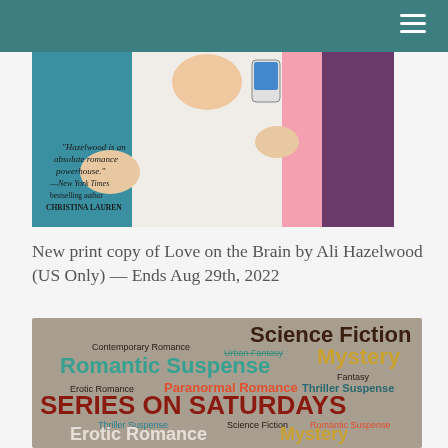[Figure (illustration): Book cover of 'Love on the Brain' by Ali Hazelwood showing illustrated hands and a quote from Christina Lauren saying 'Hazelwood is an absolute romance powerhouse.' —New York Times bestselling author CHRISTINA LAUREN]
New print copy of Love on the Brain by Ali Hazelwood (US Only) — Ends Aug 29th, 2022
[Figure (infographic): Word cloud for 'Series on Saturdays' featuring genre terms: Science Fiction, Mystery, Romantic Suspense, Contemporary Romance, Urban Fantasy, Paranormal Romance, Thriller Suspense, Erotic Romance, Fantasy in various colors and sizes]